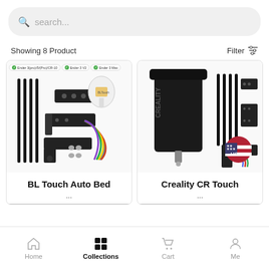search...
Showing 8 Product
Filter
[Figure (photo): BL Touch Auto Bed Leveling Sensor product kit with mounting brackets, cable ties, and wiring harness on white background. Compatibility tags: Ender 3(pro)/5/(Pro)/CR-10, Ender 3 V2, Ender 3 Max.]
BL Touch Auto Bed
[Figure (photo): Creality CR Touch sensor with metal bracket, cable ties, mounting hardware, and US flag USD badge on white background.]
Creality CR Touch
Home   Collections   Cart   Me